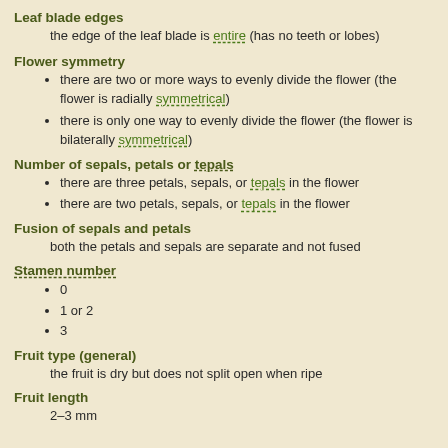Leaf blade edges
the edge of the leaf blade is entire (has no teeth or lobes)
Flower symmetry
there are two or more ways to evenly divide the flower (the flower is radially symmetrical)
there is only one way to evenly divide the flower (the flower is bilaterally symmetrical)
Number of sepals, petals or tepals
there are three petals, sepals, or tepals in the flower
there are two petals, sepals, or tepals in the flower
Fusion of sepals and petals
both the petals and sepals are separate and not fused
Stamen number
0
1 or 2
3
Fruit type (general)
the fruit is dry but does not split open when ripe
Fruit length
2–3 mm